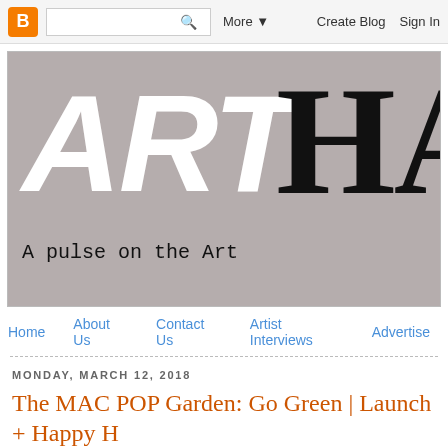Blogger navigation bar with search, More, Create Blog, Sign In
[Figure (illustration): ArtHa blog banner with grey background, italic white 'ART' text and serif black 'HA' text, tagline 'A pulse on the Art']
Home  About Us  Contact Us  Artist Interviews  Advertise
MONDAY, MARCH 12, 2018
The MAC POP Garden: Go Green | Launch + Happy H...